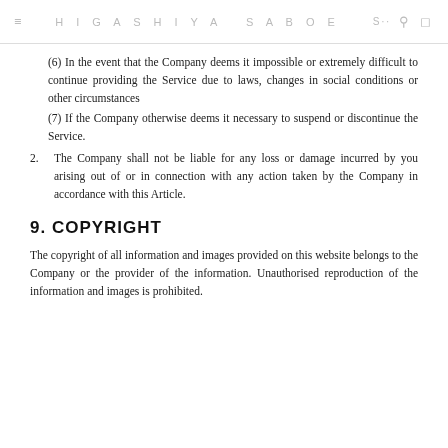HIGASHIYA SABOE S·· [search] [bag]
(6) In the event that the Company deems it impossible or extremely difficult to continue providing the Service due to laws, changes in social conditions or other circumstances
(7) If the Company otherwise deems it necessary to suspend or discontinue the Service.
2. The Company shall not be liable for any loss or damage incurred by you arising out of or in connection with any action taken by the Company in accordance with this Article.
9. COPYRIGHT
The copyright of all information and images provided on this website belongs to the Company or the provider of the information. Unauthorised reproduction of the information and images is prohibited.